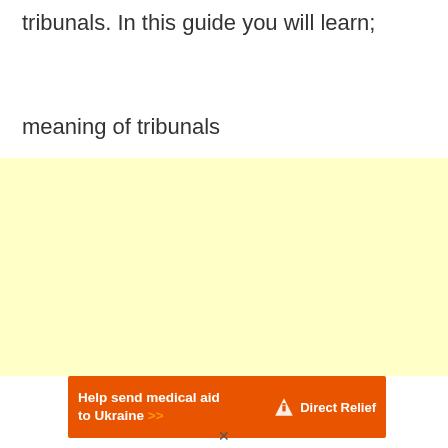tribunals. In this guide you will learn;
meaning of tribunals
[Figure (other): Yellow/cream colored advertisement placeholder box]
[Figure (other): Orange advertisement banner: Help send medical aid to Ukraine >> with Direct Relief logo]
×